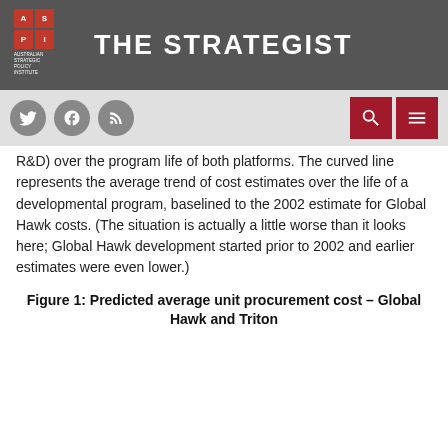THE STRATEGIST — Australian Strategic Policy Institute
R&D) over the program life of both platforms. The curved line represents the average trend of cost estimates over the life of a developmental program, baselined to the 2002 estimate for Global Hawk costs. (The situation is actually a little worse than it looks here; Global Hawk development started prior to 2002 and earlier estimates were even lower.)
Figure 1: Predicted average unit procurement cost – Global Hawk and Triton